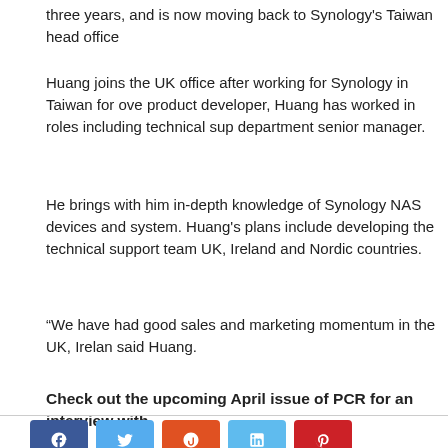three years, and is now moving back to Synology's Taiwan head office
Huang joins the UK office after working for Synology in Taiwan for over... product developer, Huang has worked in roles including technical sup... department senior manager.
He brings with him in-depth knowledge of Synology NAS devices and system. Huang's plans include developing the technical support team UK, Ireland and Nordic countries.
“We have had good sales and marketing momentum in the UK, Irelan said Huang.
“We will continue to expand the business channels and provide our cu possible.”
Check out the upcoming April issue of PCR for an interview with
[Figure (other): Social media share buttons: Facebook, Twitter, StumbleUpon, LinkedIn, Pinterest]